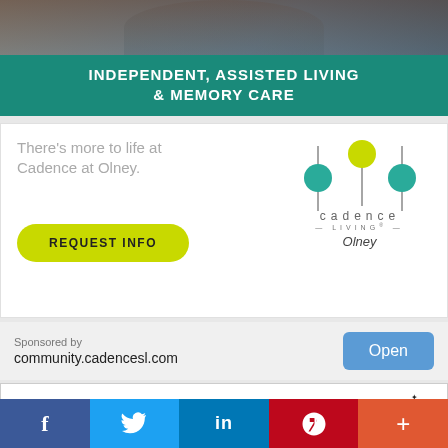[Figure (photo): Top portion of advertisement showing hands clasped, two people in background]
INDEPENDENT, ASSISTED LIVING & MEMORY CARE
There's more to life at Cadence at Olney.
[Figure (logo): Cadence Living Olney logo with colored circles and vertical lines]
REQUEST INFO
Sponsored by
community.cadencesl.com
Open
[Figure (logo): GoDaddy logo with stylized G icon and GoDaddy text]
[Figure (illustration): Illustration of person jumping on arrow with stars, teal colored]
f
𝕥
in
P
+